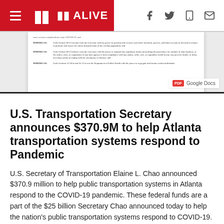11 ALIVE
[Figure (screenshot): Scanned government document showing WHEREAS clauses related to COVID-19, with a PDF / Google Docs badge overlay]
U.S. Transportation Secretary announces $370.9M to help Atlanta transportation systems respond to Pandemic
U.S. Secretary of Transportation Elaine L. Chao announced $370.9 million to help public transportation systems in Atlanta respond to the COVID-19 pandemic. These federal funds are a part of the $25 billion Secretary Chao announced today to help the nation's public transportation systems respond to COVID-19.